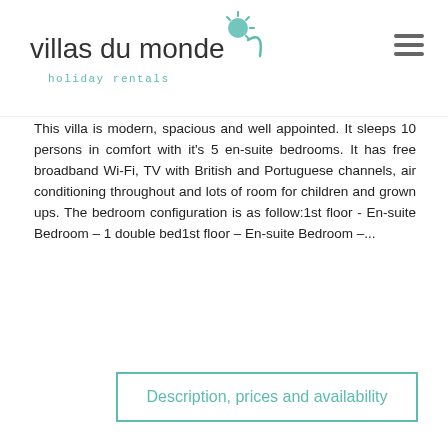villas du monde — holiday rentals
This villa is modern, spacious and well appointed. It sleeps 10 persons in comfort with it's 5 en-suite bedrooms. It has free broadband Wi-Fi, TV with British and Portuguese channels, air conditioning throughout and lots of room for children and grown ups. The bedroom configuration is as follow:1st floor - En-suite Bedroom – 1 double bed1st floor – En-suite Bedroom –...
Description, prices and availability
This website uses cookies
By continuing your navigation on our site, you accept the use of cookies and / or other tracers.
They are used to provide you with an optimal browsing experience and also for statistical purposes. These data are anonymous and do not allow you to identify yourself.
I agree
Read more